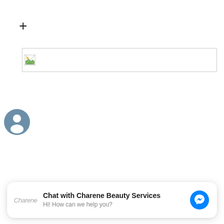+
[Figure (screenshot): A broken image placeholder icon with a wide empty input or image field outlined with a light gray border]
[Figure (illustration): A circular blue-gray person/accessibility icon]
[Figure (screenshot): Chat widget showing 'Chat with Charene Beauty Services' with subtitle 'Hi! How can we help you?' and a Facebook Messenger icon on the right, Charene logo on the left]